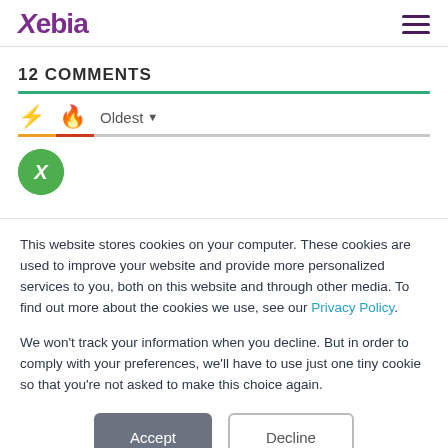Xebia
12 COMMENTS
This website stores cookies on your computer. These cookies are used to improve your website and provide more personalized services to you, both on this website and through other media. To find out more about the cookies we use, see our Privacy Policy.
We won't track your information when you decline. But in order to comply with your preferences, we'll have to use just one tiny cookie so that you're not asked to make this choice again.